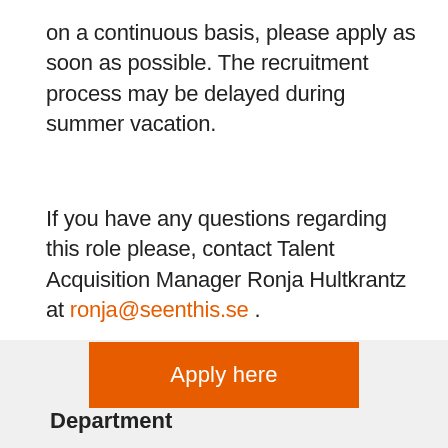on a continuous basis, please apply as soon as possible. The recruitment process may be delayed during summer vacation.
If you have any questions regarding this role please, contact Talent Acquisition Manager Ronja Hultkrantz at ronja@seenthis.se .
We look forward to welcoming you to the SeenThis-family! 🧡
Apply here
Department